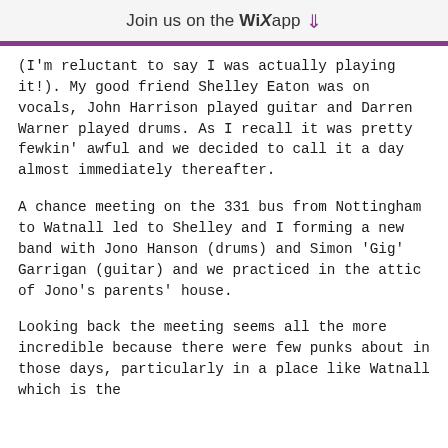Join us on the WiX app ⬇
(I'm reluctant to say I was actually playing it!). My good friend Shelley Eaton was on vocals, John Harrison played guitar and Darren Warner played drums. As I recall it was pretty fewkin' awful and we decided to call it a day almost immediately thereafter.
A chance meeting on the 331 bus from Nottingham to Watnall led to Shelley and I forming a new band with Jono Hanson (drums) and Simon 'Gig' Garrigan (guitar) and we practiced in the attic of Jono's parents' house.
Looking back the meeting seems all the more incredible because there were few punks about in those days, particularly in a place like Watnall which is the